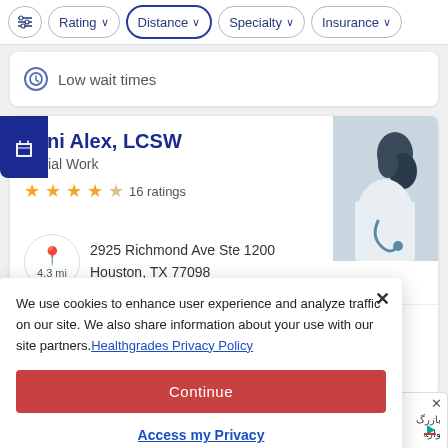Rating | Distance | Specialty | Insurance
Low wait times
Toni Alex, LCSW
Social Work
16 ratings
2925 Richmond Ave Ste 1200
Houston, TX 77098
4.3 mi
Easy scheduling
We use cookies to enhance user experience and analyze traffic on our site. We also share information about your use with our site partners. Healthgrades Privacy Policy
Continue
Access my Privacy Preferences